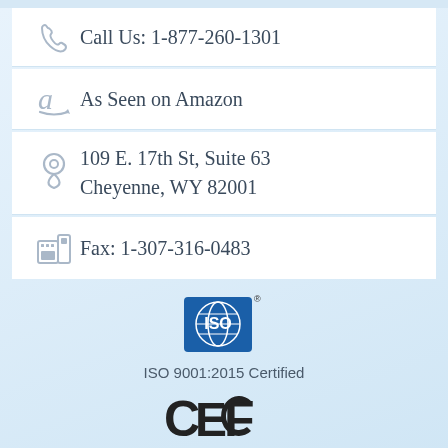Call Us: 1-877-260-1301
As Seen on Amazon
109 E. 17th St, Suite 63
Cheyenne, WY 82001
Fax: 1-307-316-0483
[Figure (logo): ISO logo — blue square with globe graphic and 'ISO' text]
ISO 9001:2015 Certified
[Figure (logo): CE and FCC certification marks]
We Accept:
[Figure (logo): Payment method logos: Visa, Mastercard, American Express, and one more card]